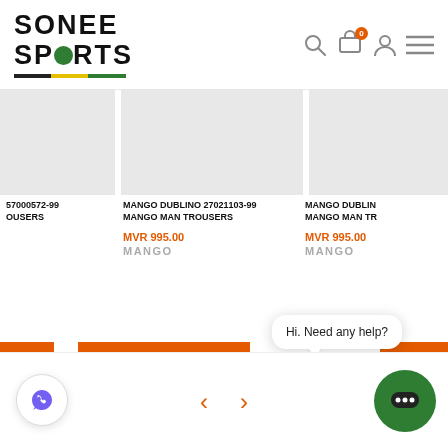[Figure (logo): Sonee Sports logo with green ball in 'SPORTS' text and tricolor underline]
[Figure (screenshot): E-commerce product listing page showing Mango Dublino trousers]
57000572-99 OUSERS
MANGO DUBLINO 27021103-99 MANGO MAN TROUSERS
MVR 995.00
MANGO
MANGO DUBLIN MANGO MAN TR
MVR 995.00
MANGO
Quick Shop
Hi. Need any help?